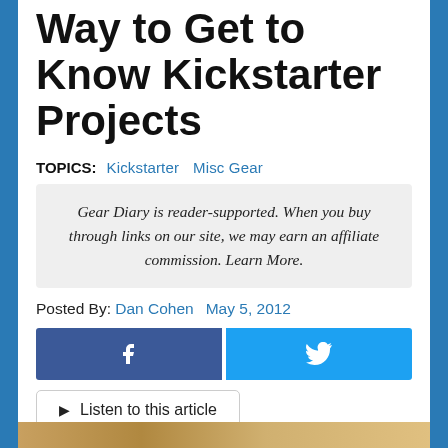Way to Get to Know Kickstarter Projects
TOPICS: Kickstarter  Misc Gear
Gear Diary is reader-supported. When you buy through links on our site, we may earn an affiliate commission. Learn More.
Posted By: Dan Cohen  May 5, 2012
[Figure (other): Facebook and Twitter social share buttons]
[Figure (other): Listen to this article button]
[Figure (photo): Partial image at bottom of page]